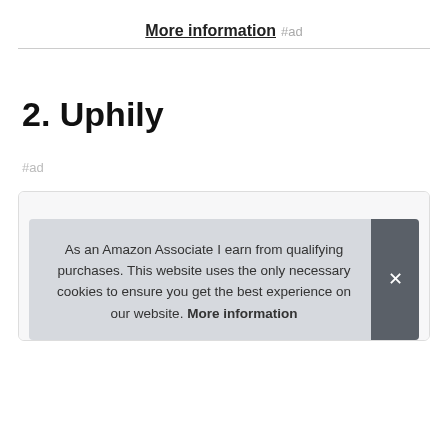More information #ad
2. Uphily
#ad
[Figure (photo): Product image placeholder inside a bordered box]
As an Amazon Associate I earn from qualifying purchases. This website uses the only necessary cookies to ensure you get the best experience on our website. More information